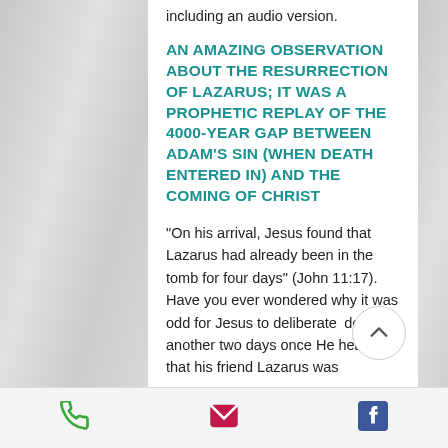including an audio version.
AN AMAZING OBSERVATION ABOUT THE RESURRECTION OF LAZARUS; IT WAS A PROPHETIC REPLAY OF THE 4000-YEAR GAP BETWEEN ADAM'S SIN (WHEN DEATH ENTERED IN) AND THE COMING OF CHRIST
"On his arrival, Jesus found that Lazarus had already been in the tomb for four days" (John 11:17). Have you ever wondered why it was odd for Jesus to deliberately delay another two days once He heard that his friend Lazarus was